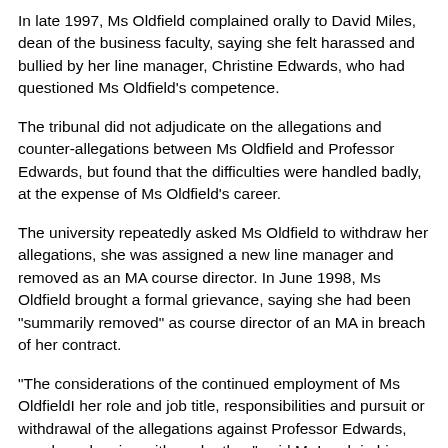In late 1997, Ms Oldfield complained orally to David Miles, dean of the business faculty, saying she felt harassed and bullied by her line manager, Christine Edwards, who had questioned Ms Oldfield's competence.
The tribunal did not adjudicate on the allegations and counter-allegations between Ms Oldfield and Professor Edwards, but found that the difficulties were handled badly, at the expense of Ms Oldfield's career.
The university repeatedly asked Ms Oldfield to withdraw her allegations, she was assigned a new line manager and removed as an MA course director. In June 1998, Ms Oldfield brought a formal grievance, saying she had been "summarily removed" as course director of an MA in breach of her contract.
"The considerations of the continued employment of Ms OldfieldI her role and job title, responsibilities and pursuit or withdrawal of the allegations against Professor Edwards, werel overlapping with each other," said Mr Lamb in his written judgment.